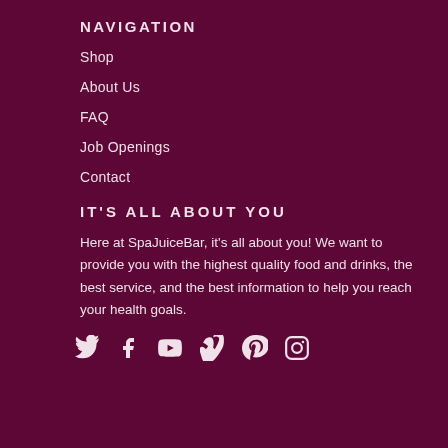NAVIGATION
Shop
About Us
FAQ
Job Openings
Contact
IT'S ALL ABOUT YOU
Here at SpaJuiceBar, it's all about you! We want to provide you with the highest quality food and drinks, the best service, and the best information to help you reach your health goals.
[Figure (illustration): Social media icons: Twitter, Facebook, YouTube, Vimeo, Pinterest, Instagram]